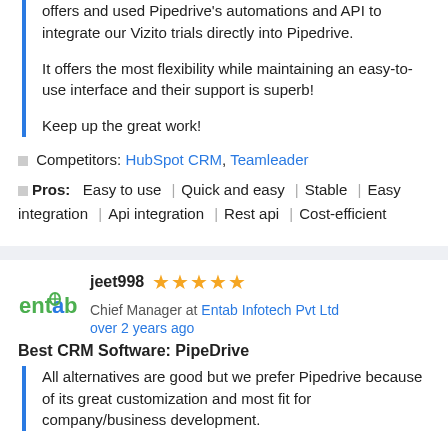offers and used Pipedrive's automations and API to integrate our Vizito trials directly into Pipedrive.
It offers the most flexibility while maintaining an easy-to-use interface and their support is superb!
Keep up the great work!
🔲 Competitors: HubSpot CRM, Teamleader
🔲 Pros: Easy to use | Quick and easy | Stable | Easy integration | Api integration | Rest api | Cost-efficient
jeet998  ★★★★★  Chief Manager at Entab Infotech Pvt Ltd  |  over 2 years ago
Best CRM Software: PipeDrive
All alternatives are good but we prefer Pipedrive because of its great customization and most fit for company/business development.